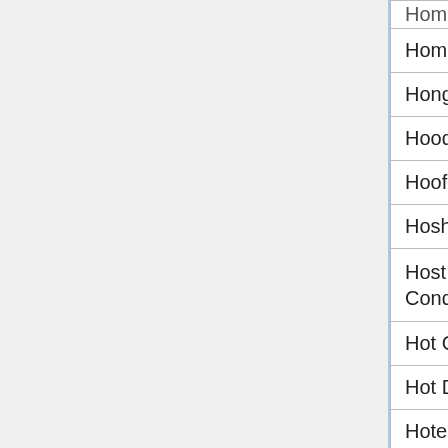| Title | N/A | N |
| --- | --- | --- |
| Homestuck - ACT 4 | N/A | N |
| Hong Kong Ninja | N/A | N |
| Hood Episode 1 | N/A | N |
| Hoofball | N/A | N |
| Hoshi Saga 1 | N/A | N |
| Host Master and the Conquest of Humor | N/A | N |
| Hot Coffee | N/A | N |
| Hot Dog Bush | N/A | N |
| Hotel Escape 3 (Hacked) | N/A | N |
| House of Lost Souls | N/A | N |
| House of Wolves | N/A | N |
| How I Buy Petrol | N/A | N |
| How Smart Are You? | N/A | N |
| How To Cook Everything | N/A | N |